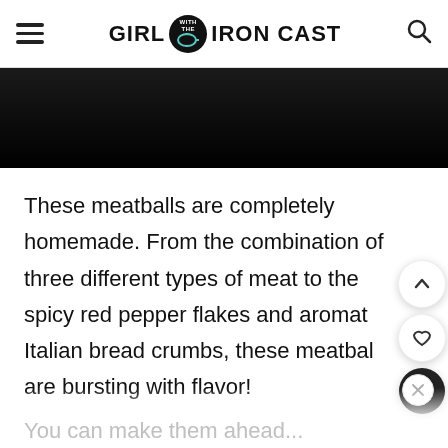GIRL WITH THE IRON CAST
[Figure (photo): Dark/black image strip showing partial food photo background]
These meatballs are completely homemade. From the combination of three different types of meat to the spicy red pepper flakes and aromatic Italian bread crumbs, these meatballs are bursting with flavor!
You can make them ahead...